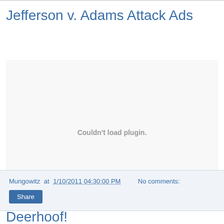Jefferson v. Adams Attack Ads
[Figure (other): Couldn't load plugin. Embedded video or plugin area that failed to load.]
Mungowitz at 1/10/2011 04:30:00 PM    No comments:
Share
Deerhoof!